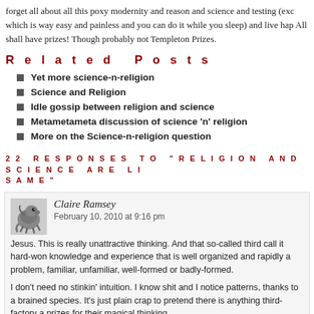forget all about all this poxy modernity and reason and science and testing (exc which is way easy and painless and you can do it while you sleep) and live hap All shall have prizes! Though probably not Templeton Prizes.
Related Posts
Yet more science-n-religion
Science and Religion
Idle gossip between religion and science
Metametameta discussion of science 'n' religion
More on the Science-n-religion question
22 RESPONSES TO “RELIGION AND SCIENCE ARE LI SAME”
Claire Ramsey
February 10, 2010 at 9:16 pm
Jesus. This is really unattractive thinking. And that so-called third call it hard-won knowledge and experience that is well organized and rapidly a problem, familiar, unfamiliar, well-formed or badly-formed.

I don’t need no stinkin’ intuition. I know shit and I notice patterns, thanks to a brained species. It’s just plain crap to pretend there is anything third-factory a prizes for their magical thinking.